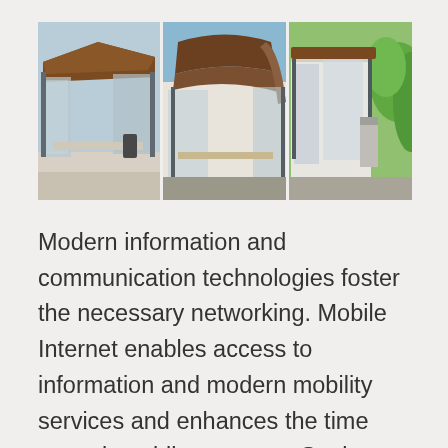[Figure (photo): Three photographs side by side showing a modern bus stop shelter with a brown/reddish curved wooden roof, glass panels, and metal frame structure, viewed from different angles (front-left, front-center arch view, and right side with greenery in background).]
Modern information and communication technologies foster the necessary networking. Mobile Internet enables access to information and modern mobility services and enhances the time spent in public transport. Stations and bus stops should no longer be seen as mere access points to public transport services; they should offer passengers additional services